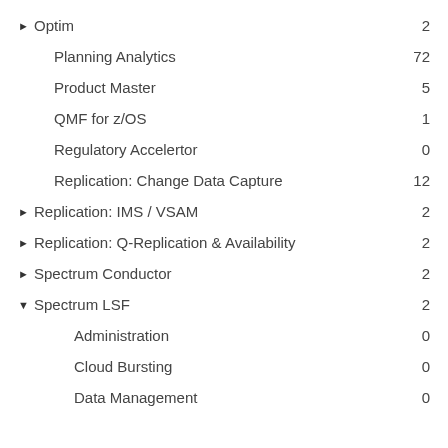▶ Optim   2
Planning Analytics   72
Product Master   5
QMF for z/OS   1
Regulatory Accelertor   0
Replication: Change Data Capture   12
▶ Replication: IMS / VSAM   2
▶ Replication: Q-Replication & Availability   2
▶ Spectrum Conductor   2
▼ Spectrum LSF   2
Administration   0
Cloud Bursting   0
Data Management   0